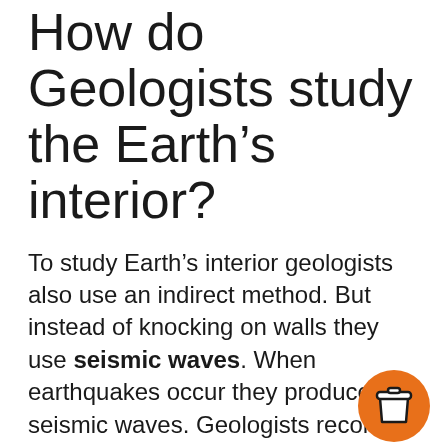How do Geologists study the Earth’s interior?
To study Earth’s interior geologists also use an indirect method. But instead of knocking on walls they use seismic waves. When earthquakes occur they produce seismic waves. Geologists record the seismic waves and study how they travel through Earth.
What do scientists use to study inside the Earth?
[Figure (illustration): Orange circular button with a coffee cup icon]